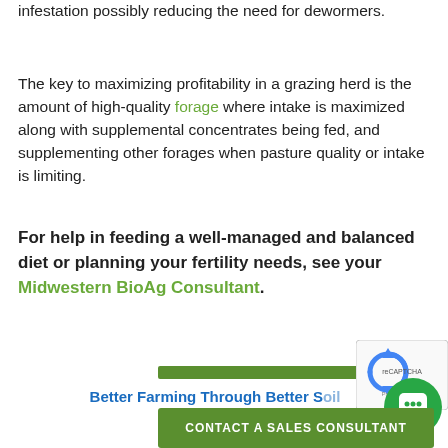infestation possibly reducing the need for dewormers.
The key to maximizing profitability in a grazing herd is the amount of high-quality forage where intake is maximized along with supplemental concentrates being fed, and supplementing other forages when pasture quality or intake is limiting.
For help in feeding a well-managed and balanced diet or planning your fertility needs, see your Midwestern BioAg Consultant.
Better Farming Through Better S[oil]
CONTACT A SALES CONSULTANT